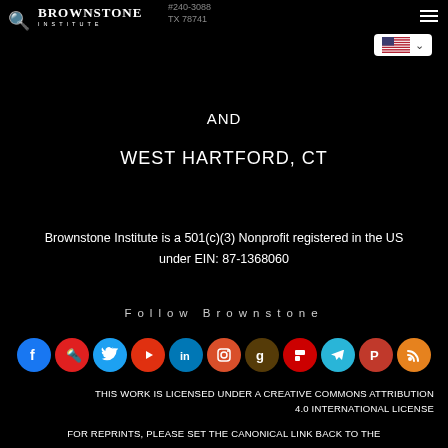#240-3088, TX 78741 — Brownstone Institute header with search, logo, hamburger menu, US flag dropdown
AND
WEST HARTFORD, CT
Brownstone Institute is a 501(c)(3) Nonprofit registered in the US under EIN: 87-1368060
Follow Brownstone
[Figure (infographic): Row of 11 social media icon circles: Facebook (blue), Torch/Substack (red), Twitter (light blue), YouTube (red-orange), LinkedIn (blue), Instagram (orange-pink), Goodreads (brown-red), Flipboard (red), Telegram (light blue), Parler (red), RSS (orange)]
THIS WORK IS LICENSED UNDER A CREATIVE COMMONS ATTRIBUTION 4.0 INTERNATIONAL LICENSE
FOR REPRINTS, PLEASE SET THE CANONICAL LINK BACK TO THE